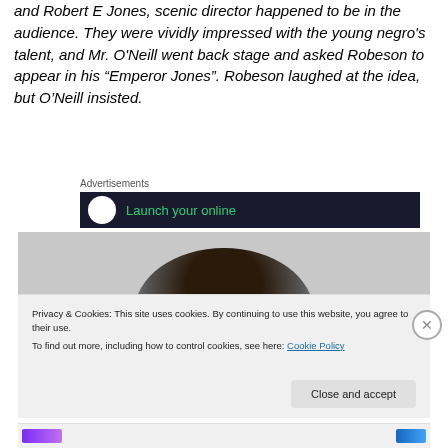and Robert E Jones, scenic director happened to be in the audience. They were vividly impressed with the young negro's talent, and Mr. O'Neill went back stage and asked Robeson to appear in his “Emperor Jones”. Robeson laughed at the idea, but O'Neill insisted.
Advertisements
[Figure (screenshot): Dark advertisement banner with white circle logo and green text reading 'Launch your online']
[Figure (photo): Black and white photo showing the top of a person's head with curly dark hair]
Privacy & Cookies: This site uses cookies. By continuing to use this website, you agree to their use.
To find out more, including how to control cookies, see here: Cookie Policy
Close and accept